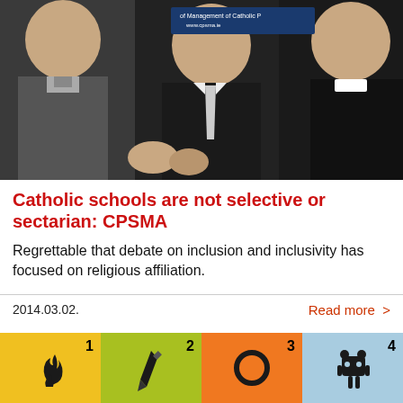[Figure (photo): Three men in clerical and formal attire smiling and talking at an event, with a banner mentioning Catholic Primary Schools in the background.]
Catholic schools are not selective or sectarian: CPSMA
Regrettable that debate on inclusion and inclusivity has focused on religious affiliation.
2014.03.02.
Read more >
[Figure (infographic): Four colored icon tiles numbered 1 through 4: yellow with a flame/steam icon (1), yellow-green with a pencil icon (2), orange with a circle/lens icon (3), light blue with a figure/robot icon (4).]